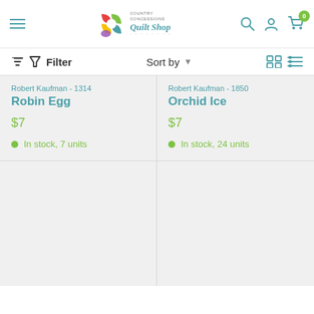[Figure (logo): Country Concessions Quilt Shop logo with colorful square icon and stylized text]
Filter
Sort by
Robert Kaufman - 1314
Robin Egg
$7
In stock, 7 units
Robert Kaufman - 1850
Orchid Ice
$7
In stock, 24 units